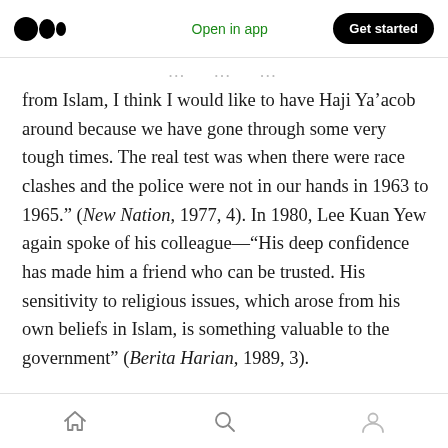Medium logo | Open in app | Get started
from Islam, I think I would like to have Haji Ya’acob around because we have gone through some very tough times. The real test was when there were race clashes and the police were not in our hands in 1963 to 1965.” (New Nation, 1977, 4). In 1980, Lee Kuan Yew again spoke of his colleague—“His deep confidence has made him a friend who can be trusted. His sensitivity to religious issues, which arose from his own beliefs in Islam, is something valuable to the government” (Berita Harian, 1989, 3).
Home | Search | Profile